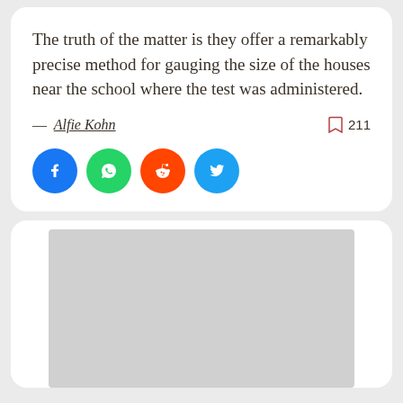The truth of the matter is they offer a remarkably precise method for gauging the size of the houses near the school where the test was administered.
— Alfie Kohn
[Figure (screenshot): Grey image placeholder rectangle at the bottom of a second card]